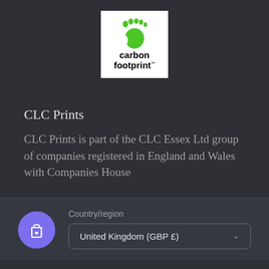[Figure (logo): Carbon Footprint logo: white background box with green foot/toes graphic and bold black text reading 'carbon footprint' with TM mark]
CLC Prints
CLC Prints is part of the CLC Essex Ltd group of companies registered in England and Wales with Companies House
Country/region
United Kingdom (GBP £)